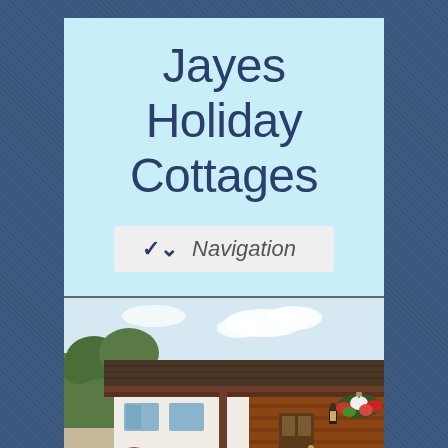Jayes Holiday Cottages
Navigation
[Figure (photo): Exterior photo of a brick holiday cottage with a tiled roof, wall-mounted lantern light, hanging basket of red and white flowers, and green trees in the background under a partly cloudy sky.]